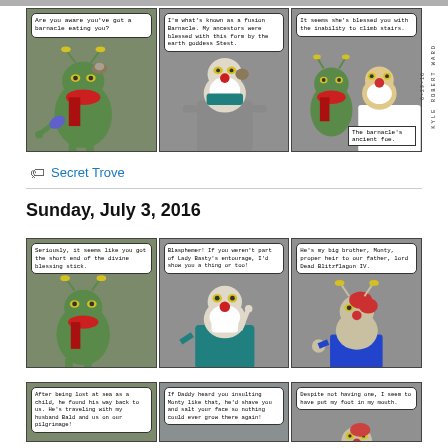[Figure (illustration): Top partial comic strip row showing cartoon characters, cut off at top of page]
[Figure (illustration): Comic strip row 1 with three panels. Panel 1: green insect character saying 'Are you aware you've got a barnacle eating you?' Panel 2: white-bearded character in teal robe saying 'I'm what's known as a fusion Barnacle. My ancestors were blessed with this form by the earth goddess Stest.' Panel 3: Two characters, one saying 'It seems she's blessed you with the inability to climb stairs.' Caption reads 'The barnacle's ancient foe.']
Secret Trove
Sunday, July 3, 2016
[Figure (illustration): Comic strip row 2 with three panels. Panel 1: green insect character saying 'Seriously, it seems like you got the short end of the divine blessing stick.' Panel 2: white-bearded character angry saying 'Blasphemer! If you weren't part of Lady Basty's entourage, I'd show you a thing or too!' Panel 3: Female insect character saying 'He's my big brother, Monty, proper heir to our father, lord Dead Blitzflagon IV.']
[Figure (illustration): Comic strip row 3 (partial) with three panels. Panel 1: green insect character saying 'After being lost at sea as a child, he found his way back to us. He's traveling with my husband Bald and us on our pilgrimage!' Panel 2: white-bearded character saying 'If Daddy heard you insulting Monty like that, he'd shave you and salt your face so nothing could ever grow there again!' Panel 3: character saying 'Despite not having one, I seem to have put my foot in my mouth.']